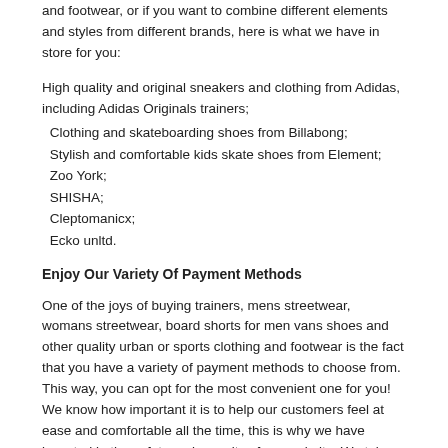of lifestyle, sports and music through out collection of quality street fashion clothing and sports shoes, and you will surely come back for more. Here, we have never followed any trends or mainstream fashion styles - instead of doing that, we have always encouraged our customers to create their own style that best represents them.
We believe in diversity - no matter if you are committed to wearing one particular brand of casual and urban clothing and footwear, or if you want to combine different elements and styles from different brands, here is what we have in store for you:
High quality and original sneakers and clothing from Adidas, including Adidas Originals trainers;
Clothing and skateboarding shoes from Billabong;
Stylish and comfortable kids skate shoes from Element;
Zoo York;
SHISHA;
Cleptomanicx;
Ecko unltd.
Enjoy Our Variety Of Payment Methods
One of the joys of buying trainers, mens streetwear, womans streetwear, board shorts for men vans shoes and other quality urban or sports clothing and footwear is the fact that you have a variety of payment methods to choose from. This way, you can opt for the most convenient one for you! We know how important it is to help our customers feel at ease and comfortable all the time, this is why we have invested in the safety and security of our website. We take the privacy and the safety of your personal information very seriously, as this is a crucial aspect that every online shopper that uses a credit card is concerned of - this is why you can rest assured, knowing that we have a TrustedShops certification.
The TrustedShops certification is the leading seal of approval that applies to online